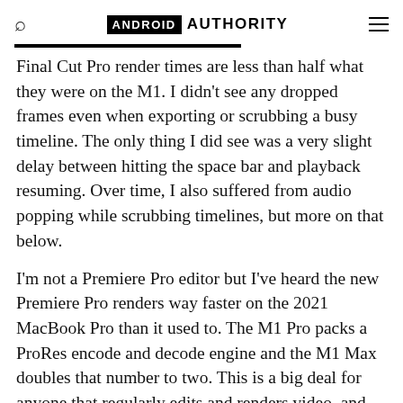ANDROID AUTHORITY
Final Cut Pro render times are less than half what they were on the M1. I didn't see any dropped frames even when exporting or scrubbing a busy timeline. The only thing I did see was a very slight delay between hitting the space bar and playback resuming. Over time, I also suffered from audio popping while scrubbing timelines, but more on that below.
I'm not a Premiere Pro editor but I've heard the new Premiere Pro renders way faster on the 2021 MacBook Pro than it used to. The M1 Pro packs a ProRes encode and decode engine and the M1 Max doubles that number to two. This is a big deal for anyone that regularly edits and renders video, and